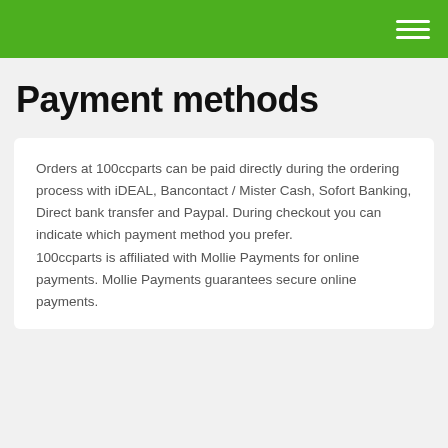Payment methods
Orders at 100ccparts can be paid directly during the ordering process with iDEAL, Bancontact / Mister Cash, Sofort Banking, Direct bank transfer and Paypal. During checkout you can indicate which payment method you prefer.
100ccparts is affiliated with Mollie Payments for online payments. Mollie Payments guarantees secure online payments.